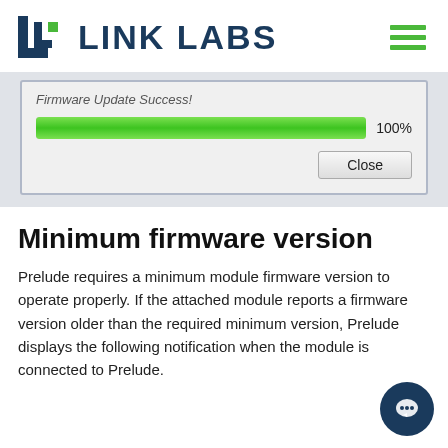LINK LABS
[Figure (screenshot): A software dialog box showing 'Firmware Update Success!' with a green progress bar at 100% and a Close button.]
Minimum firmware version
Prelude requires a minimum module firmware version to operate properly. If the attached module reports a firmware version older than the required minimum version, Prelude displays the following notification when the module is connected to Prelude.